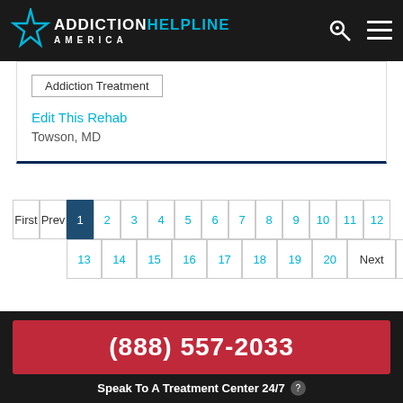[Figure (logo): Addiction Helpline America logo with teal star on dark background]
Addiction Treatment
Edit This Rehab
Towson, MD
Pagination: First, Prev, 1 (active), 2, 3, 4, 5, 6, 7, 8, 9, 10, 11, 12, 13, 14, 15, 16, 17, 18, 19, 20, Next, Last
(888) 557-2033
Speak To A Treatment Center 24/7